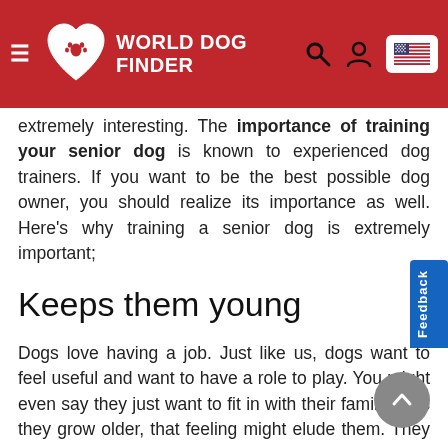World Dog Finder
extremely interesting. The importance of training your senior dog is known to experienced dog trainers. If you want to be the best possible dog owner, you should realize its importance as well. Here's why training a senior dog is extremely important;
Keeps them young
Dogs love having a job. Just like us, dogs want to feel useful and want to have a role to play. You might even say they just want to fit in with their families. As they grow older, that feeling might elude them. They aren't as powerful, fast, or sharp as they used to be. That's why training in your dog's senior years will do wonders for them. Not only will your dog engage their aging